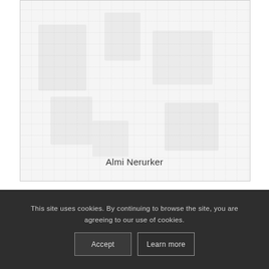[Figure (photo): Faded/watermarked image of figures, attributed to Almi Nerurker]
Almi Nerurker
This site uses cookies. By continuing to browse the site, you are agreeing to our use of cookies.
Accept
Learn more